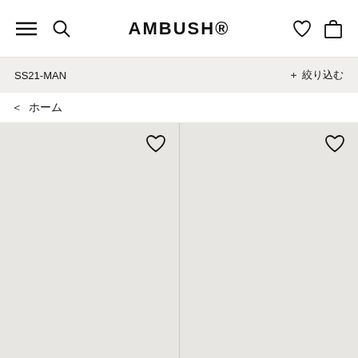AMBUSH®
SS21-MAN
+ 絞り込む
＜  ホーム
[Figure (screenshot): Two empty product card placeholders with heart/wishlist icons in top-right corners, on a light beige background]